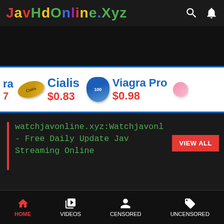JavHdOnline.Xyz
[Figure (screenshot): Dark band area, top of video content]
[Figure (infographic): Ad banner showing Cialis at $0.83 and Viagra Pro at $0.98]
watchjavonline.xyz:Watchjavonline - Free Daily Update Jav Streaming Online
HOME  VIDEOS  CENSORED  UNCENSORED